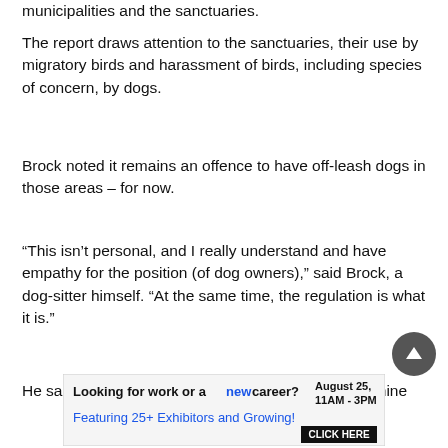municipalities and the sanctuaries.
The report draws attention to the sanctuaries, their use by migratory birds and harassment of birds, including species of concern, by dogs.
Brock noted it remains an offence to have off-leash dogs in those areas – for now.
“This isn’t personal, and I really understand and have empathy for the position (of dog owners),” said Brock, a dog-sitter himself. “At the same time, the regulation is what it is.”
He said it’s difficult for enforcement officers to determine
[Figure (other): Advertisement banner: 'Looking for work or a new career? August 25, 11AM - 3PM Featuring 25+ Exhibitors and Growing! CLICK HERE']